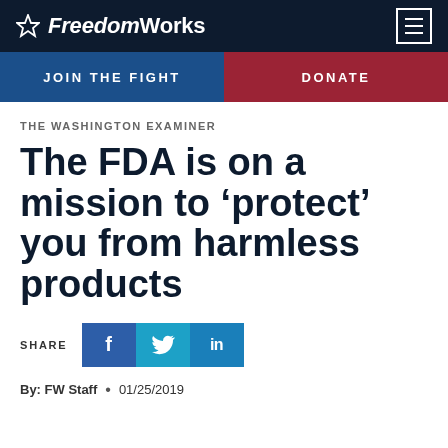FreedomWorks
JOIN THE FIGHT | DONATE
THE WASHINGTON EXAMINER
The FDA is on a mission to ‘protect’ you from harmless products
SHARE [Facebook] [Twitter] [LinkedIn]
By: FW Staff • 01/25/2019